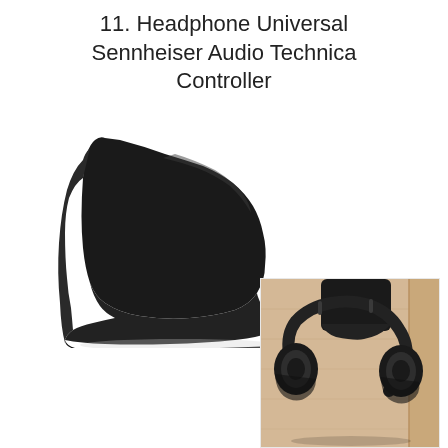11. Headphone Universal Sennheiser Audio Technica Controller
[Figure (photo): Product photo of a black wall-mounted headphone holder/hanger with a curved shelf design, shown alone (main image) and mounted on a wooden surface with headphones hanging from it (secondary image in bottom right corner).]